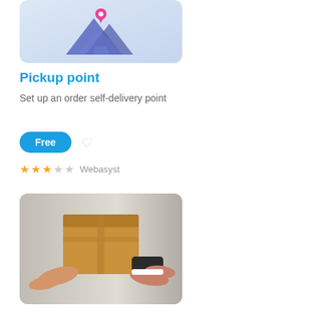[Figure (illustration): Pickup point app icon: stylized mountains/arrows in blue with a pink location pin on a light blue gradient background]
Pickup point
Set up an order self-delivery point
Free
3 out of 5 stars  Webasyst
[Figure (photo): Two people exchanging a large cardboard box, one in a suit sleeve and one with bare arms, against a grey background]
Courier
Shipping cost based on order total or weight
Free